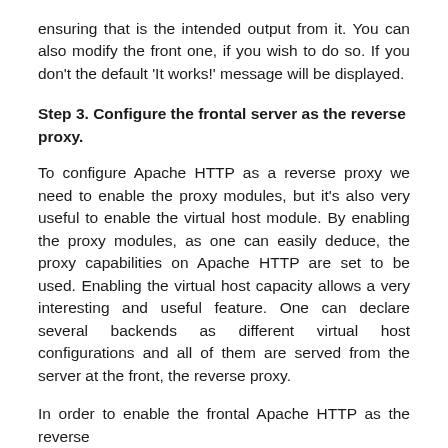ensuring that is the intended output from it. You can also modify the front one, if you wish to do so. If you don't the default 'It works!' message will be displayed.
Step 3. Configure the frontal server as the reverse proxy.
To configure Apache HTTP as a reverse proxy we need to enable the proxy modules, but it's also very useful to enable the virtual host module. By enabling the proxy modules, as one can easily deduce, the proxy capabilities on Apache HTTP are set to be used. Enabling the virtual host capacity allows a very interesting and useful feature. One can declare several backends as different virtual host configurations and all of them are served from the server at the front, the reverse proxy.
In order to enable the frontal Apache HTTP as the reverse